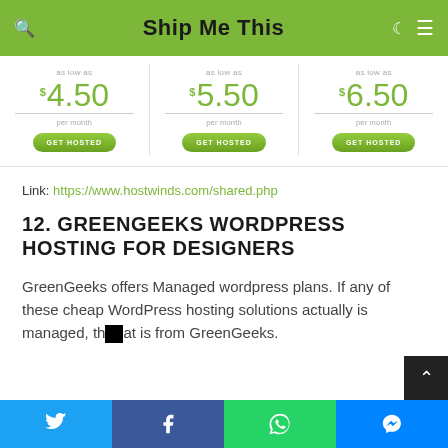Ship Me This
[Figure (other): Three pricing columns showing as low as $4.50/month, $5.50/month, $6.50/month each with GET HOSTED buttons]
Link: https://www.hostwinds.com/shared.php
12. GREENGEEKS WORDPRESS HOSTING FOR DESIGNERS
GreenGeeks offers Managed wordpress plans. If any of these cheap WordPress hosting solutions actually is managed, that is from GreenGeeks.